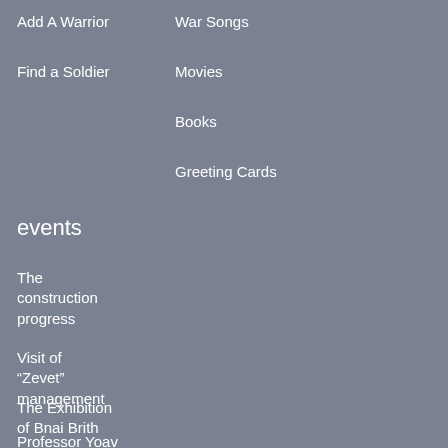Add A Warrior
War Songs
Find a Soldier
Movies
Books
Greeting Cards
events
The construction progress
Visit of “Zevet” management
The Exhibition of Bnai Brith
Professor Yoav